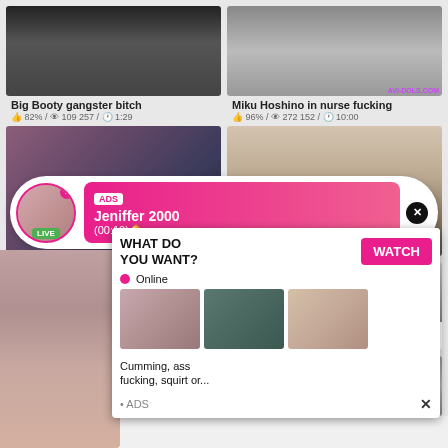[Figure (screenshot): Adult video thumbnail grid with overlaid advertisements including a live chat popup and a 'What Do You Want?' watch prompt]
Big Booty gangster bitch
82% / 109 257 / 1:29
Miku Hoshino in nurse fucking
96% / 272 152 / 10:00
ADS
Jeniffer 2000
(00:12)🔔
LIVE
WHAT DO YOU WANT?
WATCH
Online
Cumming, ass fucking, squirt or...
• ADS